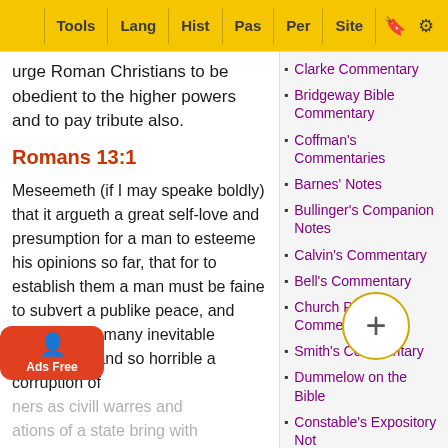Tools | Lang | Hist | Pas | Per | Site
urge Roman Christians to be obedient to the higher powers and to pay tribute also.
Romans 13:1
Meseemeth (if I may speake boldly) that it argueth a great self-love and presumption for a man to esteeme his opinions so far, that for to establish them a man must be faine to subvert a publike peace, and introduce so many inevitable mischiefes, and so horrible a corruption of manners as civill warres and alterations of a state bring with them, into how great consequences soever they bring into h
Clarke Commentary
Bridgeway Bible Commentary
Coffman's Commentaries
Barnes' Notes
Bullinger's Companion Notes
Calvin's Commentary
Bell's Commentary
Church Pulpit Commentary
Smith's Commentary
Dummelow on the Bible
Constable's Expository Notes
Darby's Synopsis
Ellicott's Commentary
Expositor's Dictionary